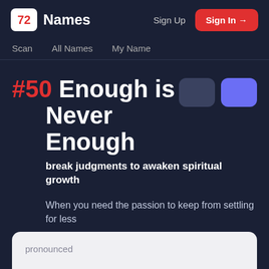72 Names | Sign Up | Sign In →
Scan
All Names
My Name
#50 Enough is Never Enough
break judgments to awaken spiritual growth
When you need the passion to keep from settling for less
pronounced